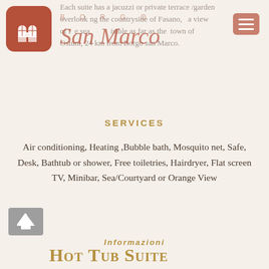Each suite has a jacuzzi or private terrace /garden overlooking the countryside of Fasano, with a view of the sea, visible as far as the town of Ostuni, 24 km from Borgo san Marco.
[Figure (logo): Borgo San Marco logo: terracotta rounded-square with white arch/grid window icon, script text 'San Marco' in terracotta, 'BORGO' navigation text, and hamburger menu button]
SERVICES
Air conditioning, Heating ,Bubble bath, Mosquito net, Safe, Desk, Bathtub or shower, Free toiletries, Hairdryer, Flat screen TV, Minibar, Sea/Courtyard or Orange View
Informazioni
Size:  From 40 to 70 sqm with two rooms (one with 1 double bed and another with 1 ore 2 single beds).
Hot Tub Suite